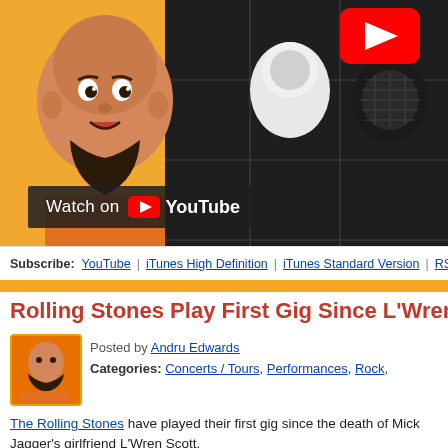[Figure (screenshot): YouTube video thumbnail showing a bald cartoon man avatar and microphone/speaker hardware on dark tile background, with 'Watch on YouTube' badge overlay]
Subscribe: YouTube | iTunes High Definition | iTunes Standard Version | RSS
Rolling Stones Play First Gig Since L'Wren's De...
Posted by Andru Edwards
Categories: Concerts / Tours, Performances, Rock,
The Rolling Stones have played their first gig since the death of Mick Jagger's girlfriend L'Wren Scott. The "Brown Sugar" hitmakers, also made up of Keith Richards, Ronnie Wood and Charlie Watts, resumed their 14 On Fire Tour after giving Mick time to grieve following fashion designer L'Wren's suicide two months ago. They took to the